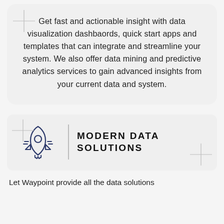Get fast and actionable insight with data visualization dashbaords, quick start apps and templates that can integrate and streamline your system. We also offer data mining and predictive analytics services to gain advanced insights from your current data and system.
[Figure (illustration): Rocket ship icon in outline style with dark blue/navy color]
MODERN DATA SOLUTIONS
Let Waypoint provide all the data solutions